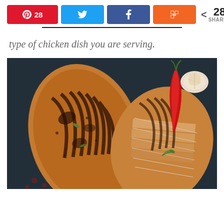[Figure (other): Social share button bar with Pinterest (28), Twitter, Facebook, Flipboard buttons and share count of 28]
type of chicken dish you are serving.
[Figure (photo): Overhead photo of grilled chicken breasts on a dark slate surface, one whole and one sliced, with red chili peppers and garlic cloves]